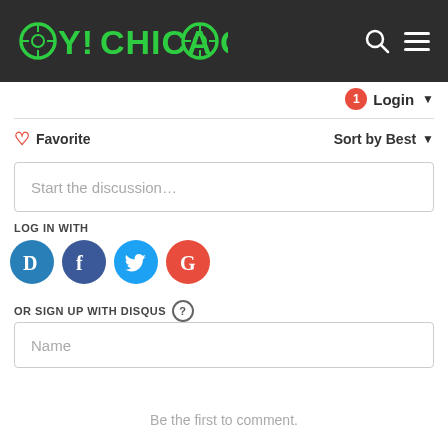OY!CHICAGO
Login
Favorite  Sort by Best
Start the discussion…
LOG IN WITH
[Figure (logo): Social login buttons: Disqus (D), Facebook (f), Twitter bird, Google (G)]
OR SIGN UP WITH DISQUS ?
Name
Be the first to comment.